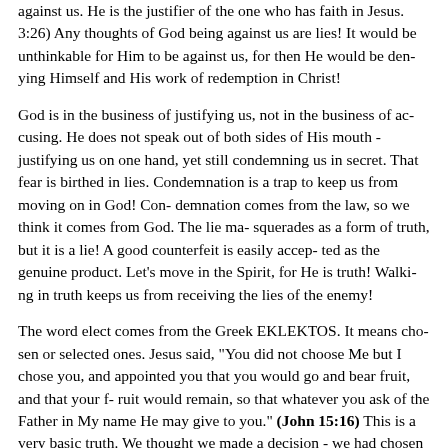against us. He is the justifier of the one who has faith in Jesus. 3:26) Any thoughts of God being against us are lies! It would be unthinkable for Him to be against us, for then He would be denying Himself and His work of redemption in Christ!
God is in the business of justifying us, not in the business of accusing. He does not speak out of both sides of His mouth - justifying us on one hand, yet still condemning us in secret. That fear is birthed in lies. Condemnation is a trap to keep us from moving on in God! Condemnation comes from the law, so we think it comes from God. The lie masquerades as a form of truth, but it is a lie! A good counterfeit is easily accepted as the genuine product. Let's move in the Spirit, for He is truth! Walking in truth keeps us from receiving the lies of the enemy!
The word elect comes from the Greek EKLEKTOS. It means chosen or selected ones. Jesus said, "You did not choose Me but I chose you, and appointed you that you would go and bear fruit, and that your fruit would remain, so that whatever you ask of the Father in My name He may give to you." (John 15:16) This is a very basic truth. We thought we had made a decision - we had chosen to follow God. The fact is that God